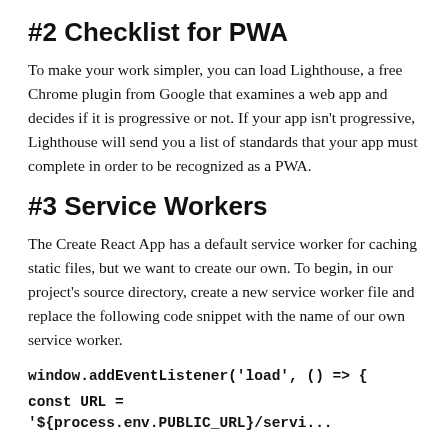#2 Checklist for PWA
To make your work simpler, you can load Lighthouse, a free Chrome plugin from Google that examines a web app and decides if it is progressive or not. If your app isn't progressive, Lighthouse will send you a list of standards that your app must complete in order to be recognized as a PWA.
#3 Service Workers
The Create React App has a default service worker for caching static files, but we want to create our own. To begin, in our project's source directory, create a new service worker file and replace the following code snippet with the name of our own service worker.
window.addEventListener('load', () => {
const URL = '${process.env.PUBLIC_URL}/servi...